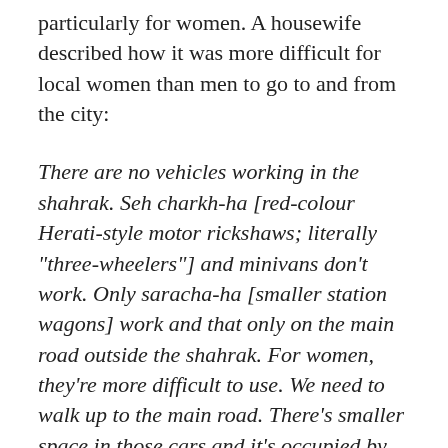particularly for women. A housewife described how it was more difficult for local women than men to go to and from the city:
There are no vehicles working in the shahrak. Seh charkh-ha [red-colour Herati-style motor rickshaws; literally "three-wheelers"] and minivans don't work. Only saracha-ha [smaller station wagons] work and that only on the main road outside the shahrak. For women, they're more difficult to use. We need to walk up to the main road. There's smaller space in those cars and it's occupied by men who are strangers [ie women such as her cannot use them for cultural